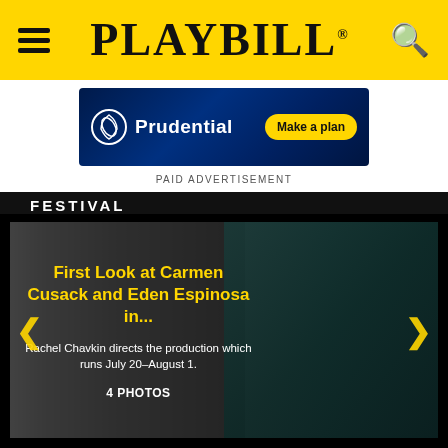PLAYBILL
[Figure (other): Prudential advertisement banner with logo and 'Make a plan' button on dark blue background]
PAID ADVERTISEMENT
FESTIVAL
[Figure (other): Slideshow image carousel showing a dark stage set with scaffolding. Slide text: 'First Look at Carmen Cusack and Eden Espinosa in...' with subtext 'Rachel Chavkin directs the production which runs July 20–August 1.' and '4 PHOTOS'. Left and right navigation arrows in yellow.]